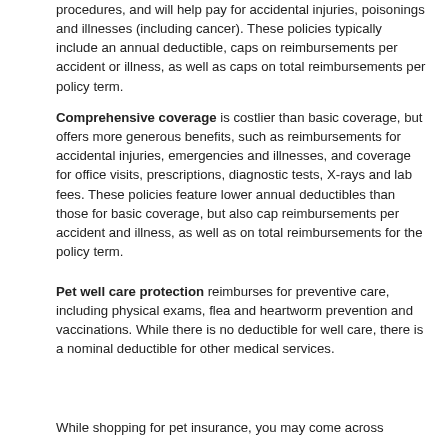procedures, and will help pay for accidental injuries, poisonings and illnesses (including cancer). These policies typically include an annual deductible, caps on reimbursements per accident or illness, as well as caps on total reimbursements per policy term.
Comprehensive coverage is costlier than basic coverage, but offers more generous benefits, such as reimbursements for accidental injuries, emergencies and illnesses, and coverage for office visits, prescriptions, diagnostic tests, X-rays and lab fees. These policies feature lower annual deductibles than those for basic coverage, but also cap reimbursements per accident and illness, as well as on total reimbursements for the policy term.
Pet well care protection reimburses for preventive care, including physical exams, flea and heartworm prevention and vaccinations. While there is no deductible for well care, there is a nominal deductible for other medical services.
While shopping for pet insurance, you may come across